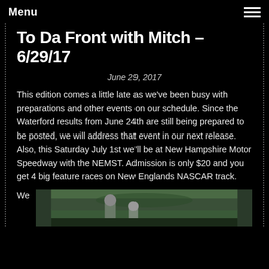Menu
To Da Front with Mitch – 6/29/17
June 29, 2017
This edition comes a little late as we've been busy with preparations and other events on our schedule.  Since the Waterford results from June 24th are still being prepared to be posted, we will address that event in our next release.  Also, this Saturday July 1st we'll be at New Hampshire Motor Speedway with the NEMST.  Admission is only $20 and you get 4 big feature races on New Englands NASCAR track.
We
[Figure (photo): Photograph showing race track scene with figure in helmet visible]